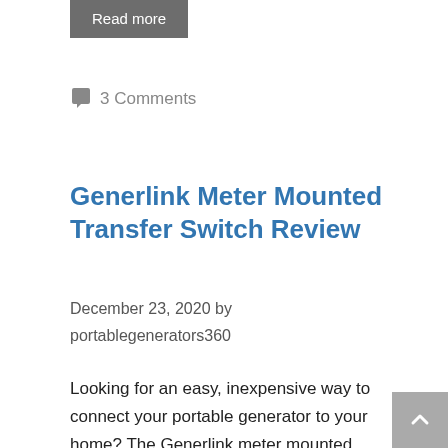Read more
3 Comments
Generlink Meter Mounted Transfer Switch Review
December 23, 2020 by portablegenerators360
Looking for an easy, inexpensive way to connect your portable generator to your home? The Generlink meter mounted